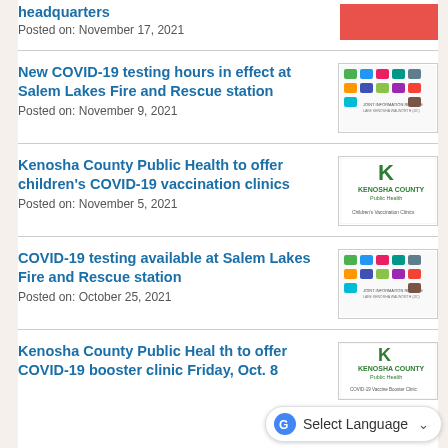headquarters
Posted on: November 17, 2021
New COVID-19 testing hours in effect at Salem Lakes Fire and Rescue station
Posted on: November 9, 2021
Kenosha County Public Health to offer children's COVID-19 vaccination clinics
Posted on: November 5, 2021
COVID-19 testing available at Salem Lakes Fire and Rescue station
Posted on: October 25, 2021
Kenosha County Public Health to offer COVID-19 booster clinic Friday, Oct. 8